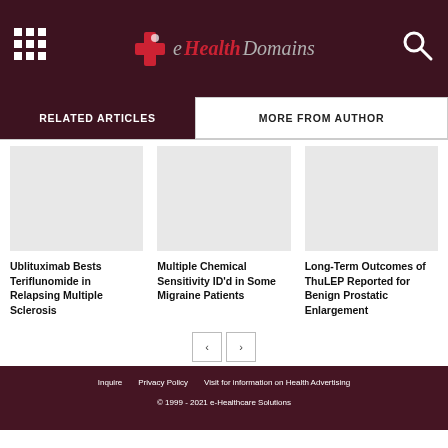eHealthDomains
RELATED ARTICLES | MORE FROM AUTHOR
Ublituximab Bests Teriflunomide in Relapsing Multiple Sclerosis
Multiple Chemical Sensitivity ID'd in Some Migraine Patients
Long-Term Outcomes of ThuLEP Reported for Benign Prostatic Enlargement
Inquire   Privacy Policy   Visit for information on Health Advertising
© 1999 - 2021 e-Healthcare Solutions